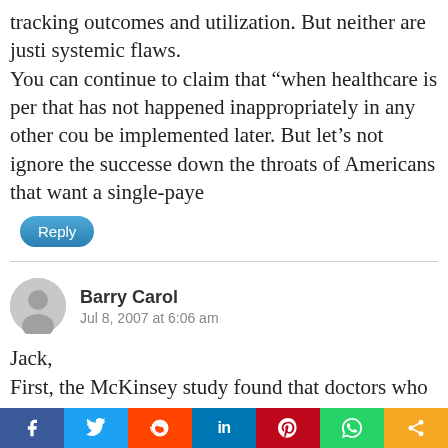tracking outcomes and utilization. But neither are justi systemic flaws. You can continue to claim that “when healthcare is pe that has not happened inappropriately in any other cou be implemented later. But let’s not ignore the successe down the throats of Americans that want a single-paye
Reply
Barry Carol
Jul 8, 2007 at 6:06 am
Jack,
First, the McKinsey study found that doctors who have eight times more likely to order tests that make use of aside, consider the following situations, both under he